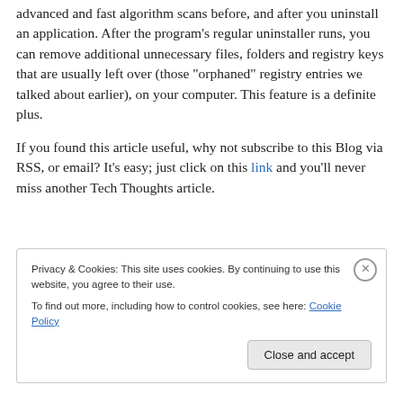advanced and fast algorithm scans before, and after you uninstall an application. After the program's regular uninstaller runs, you can remove additional unnecessary files, folders and registry keys that are usually left over (those “orphaned” registry entries we talked about earlier), on your computer. This feature is a definite plus.
If you found this article useful, why not subscribe to this Blog via RSS, or email? It’s easy; just click on this link and you’ll never miss another Tech Thoughts article.
Privacy & Cookies: This site uses cookies. By continuing to use this website, you agree to their use.
To find out more, including how to control cookies, see here: Cookie Policy